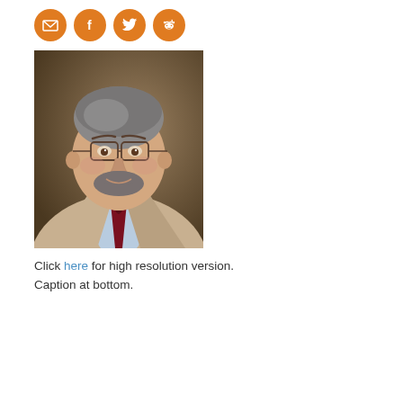[Figure (other): Four orange circular social media icon buttons: email/envelope, Facebook, Twitter, Reddit]
[Figure (photo): Professional headshot of a middle-aged man with gray hair, glasses, beard, wearing a tan/beige blazer, light blue shirt, and dark red tie, against a brown background]
Click here for high resolution version. Caption at bottom.